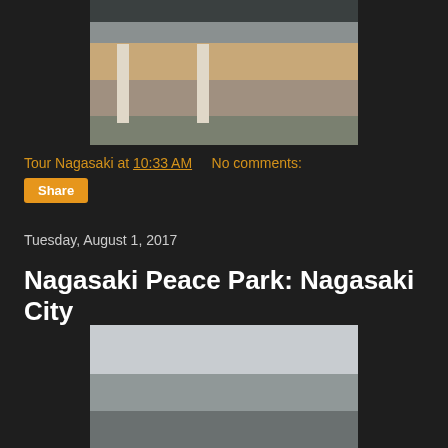[Figure (photo): Interior of a covered transit station or bus terminal with concrete pillars, tactile paving strips, and red pavement visible outside]
Tour Nagasaki at 10:33 AM   No comments:
Share
Tuesday, August 1, 2017
Nagasaki Peace Park: Nagasaki City
[Figure (photo): Overcast sky with mountains partially obscured by clouds]